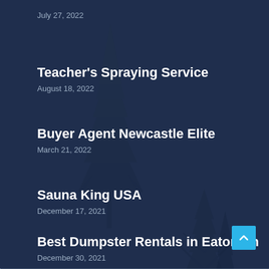July 27, 2022
Teacher's Spraying Service
August 18, 2022
Buyer Agent Newcastle Elite
March 21, 2022
Sauna King USA
December 17, 2021
Best Dumpster Rentals in Eatonton
December 30, 2021